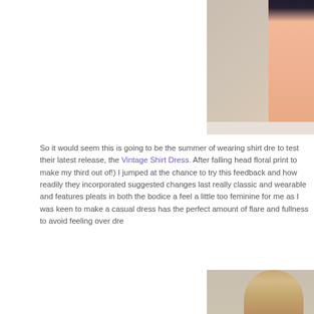[Figure (photo): Photo of a person wearing a shirt dress, cropped showing lower body portion, standing against a neutral wall background.]
So it would seem this is going to be the summer of wearing shirt dre... to test their latest release, the Vintage Shirt Dress. After falling head... floral print to make my third out of!) I jumped at the chance to try this... feedback and how readily they incorporated suggested changes last... really classic and wearable and features pleats in both the bodice a... feel a little too feminine for me as I was keen to make a casual dress... has the perfect amount of flare and fullness to avoid feeling over dre...
[Figure (photo): Photo showing a person with long blonde hair, cropped at the head/shoulders from the bottom of the page.]